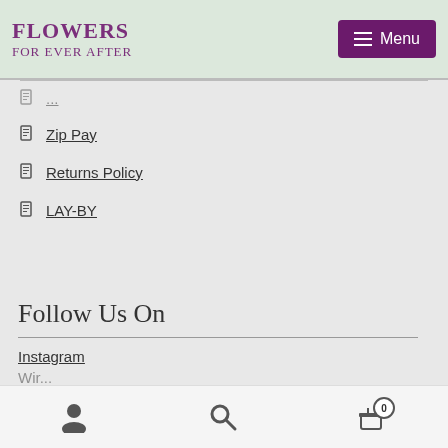Flowers For Ever After | Menu
Zip Pay
Returns Policy
LAY-BY
Follow Us On
Instagram
0